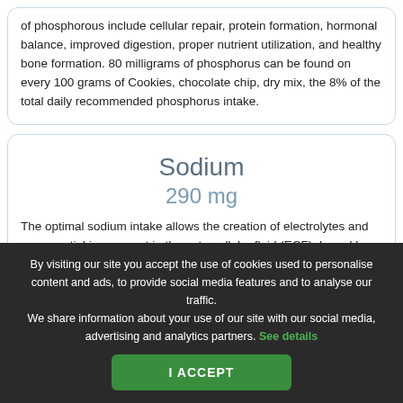of phosphorous include cellular repair, protein formation, hormonal balance, improved digestion, proper nutrient utilization, and healthy bone formation. 80 milligrams of phosphorus can be found on every 100 grams of Cookies, chocolate chip, dry mix, the 8% of the total daily recommended phosphorus intake.
Sodium
290 mg
The optimal sodium intake allows the creation of electrolytes and an essential ion present in the extracellular fluid (ECF). ... Cookies, chocolate ... milligrams of ...
By visiting our site you accept the use of cookies used to personalise content and ads, to provide social media features and to analyse our traffic. We share information about your use of our site with our social media, advertising and analytics partners. See details